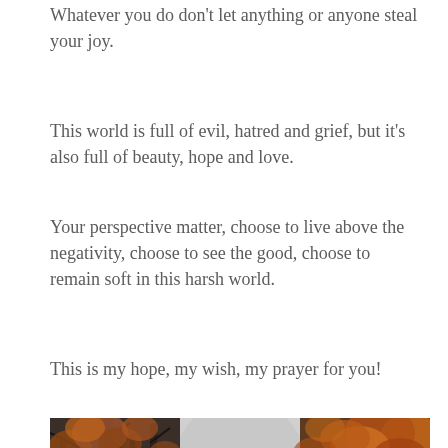Whatever you do don't let anything or anyone steal your joy.
This world is full of evil, hatred and grief, but it's also full of beauty, hope and love.
Your perspective matter, choose to live above the negativity, choose to see the good, choose to remain soft in this harsh world.
This is my hope, my wish, my prayer for you!
[Figure (photo): A forest path in autumn with bare dark trees on the left side and orange/brown leafy trees on the right, with a grey overcast sky visible through the center of the tree canopy. The image has a moody, semi-desaturated look.]